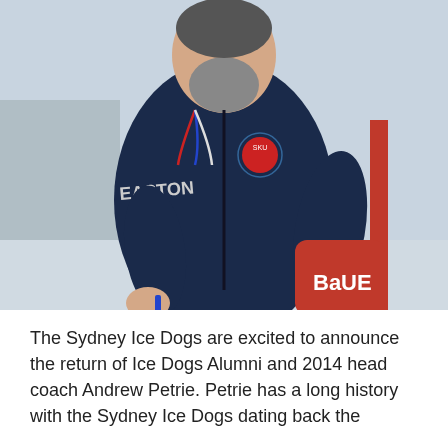[Figure (photo): A bearded man wearing a dark navy Easton jacket with a hockey team logo/badge, carrying red Bauer hockey gloves under one arm and holding a marker in his other hand. He appears to be a hockey coach on an ice rink.]
The Sydney Ice Dogs are excited to announce the return of Ice Dogs Alumni and 2014 head coach Andrew Petrie. Petrie has a long history with the Sydney Ice Dogs dating back the